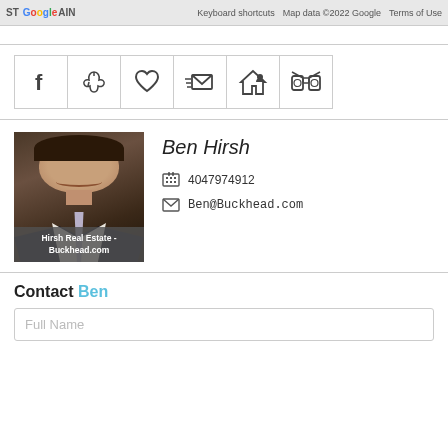[Figure (screenshot): Google Maps bar showing 'ST GoogleAIN' map with keyboard shortcuts, Map data ©2022 Google, Terms of Use links]
[Figure (infographic): Row of 6 icon buttons: Facebook (f), PDF (acrobat), heart/favorite, email with speed lines, home with person, binoculars]
[Figure (photo): Professional headshot photo of Ben Hirsh with Hirsh Real Estate - Buckhead.com label overlay]
Ben Hirsh
4047974912
Ben@Buckhead.com
Contact Ben
Full Name